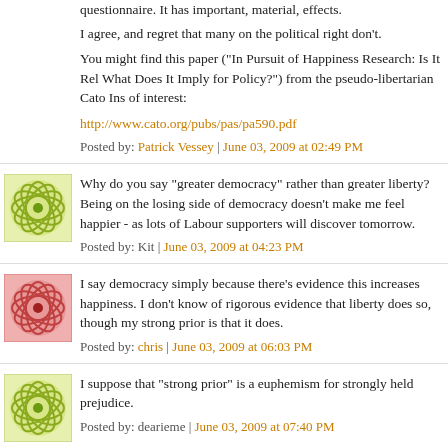questionnaire. It has important, material, effects.
I agree, and regret that many on the political right don't.
You might find this paper ("In Pursuit of Happiness Research: Is It Relevant? What Does It Imply for Policy?") from the pseudo-libertarian Cato Institute of interest:
http://www.cato.org/pubs/pas/pa590.pdf
Posted by: Patrick Vessey | June 03, 2009 at 02:49 PM
[Figure (illustration): Green abstract circular pattern avatar]
Why do you say "greater democracy" rather than greater liberty? Being on the losing side of democracy doesn't make me feel happier - as lots of Labour supporters will discover tomorrow.
Posted by: Kit | June 03, 2009 at 04:23 PM
[Figure (illustration): Red/pink abstract circular pattern avatar]
I say democracy simply because there's evidence this increases happiness. I don't know of rigorous evidence that liberty does so, though my strong prior is that it does.
Posted by: chris | June 03, 2009 at 06:03 PM
[Figure (illustration): Green abstract circular pattern avatar]
I suppose that "strong prior" is a euphemism for strongly held prejudice.
Posted by: dearieme | June 03, 2009 at 07:40 PM